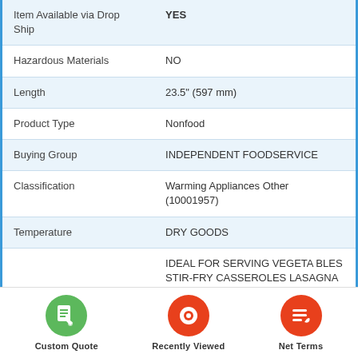| Item Available via Drop Ship | YES |
| Hazardous Materials | NO |
| Length | 23.5" (597 mm) |
| Product Type | Nonfood |
| Buying Group | INDEPENDENT FOODSERVICE |
| Classification | Warming Appliances Other (10001957) |
| Temperature | DRY GOODS |
|  | IDEAL FOR SERVING VEGETABLES STIR-FRY CASSEROLES LASAGNA AND OTHER ITEM |
Custom Quote   Recently Viewed   Net Terms